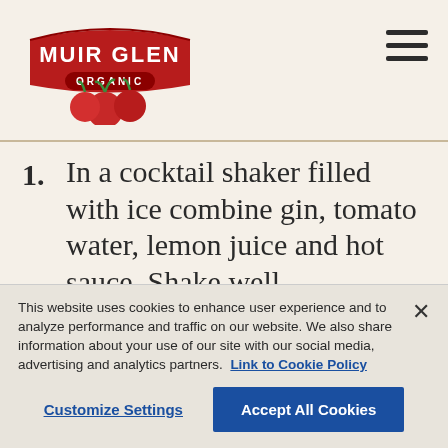[Figure (logo): Muir Glen Organic logo with red banner, white text, and tomatoes]
In a cocktail shaker filled with ice combine gin, tomato water, lemon juice and hot sauce. Shake well.
Into a champagne flute drop one cherry tomato, then strain tomato mixture into the glass. Fill the glass with champagne. Finish with orange bitters, and garnish with a lemon twist on the rim.
This website uses cookies to enhance user experience and to analyze performance and traffic on our website. We also share information about your use of our site with our social media, advertising and analytics partners. Link to Cookie Policy
Customize Settings   Accept All Cookies